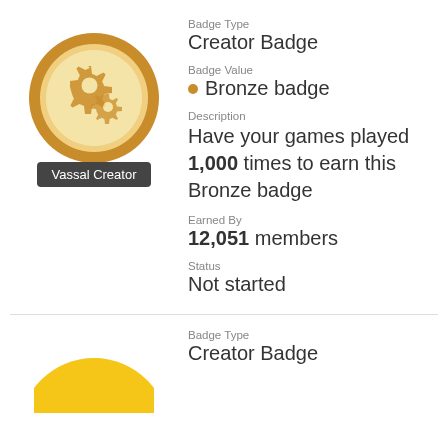[Figure (illustration): Vassal Creator badge: gold circular medal with gear icons, tooltip label 'Vassal Creator']
Badge Type
Creator Badge
Badge Value
• Bronze badge
Description
Have your games played 1,000 times to earn this Bronze badge
Earned By
12,051 members
Status
Not started
Badge Type
Creator Badge